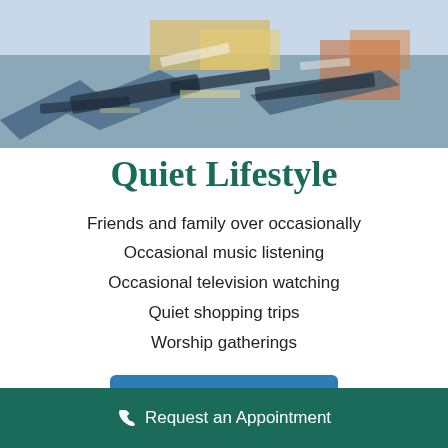[Figure (illustration): Abstract oil painting with blues, greens, yellows, and reds suggesting a landscape or boats, cropped at top of page]
Quiet Lifestyle
Friends and family over occasionally
Occasional music listening
Occasional television watching
Quiet shopping trips
Worship gatherings
Learn More
Request an Appointment